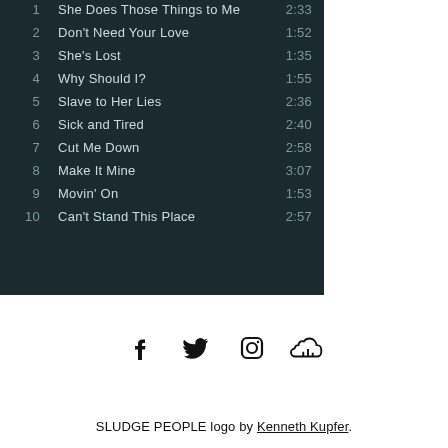[Figure (other): Dark-themed tracklist showing 10 songs with track numbers, song titles, and durations on a dark teal/navy background]
[Figure (other): Social media icons: Facebook, Twitter, Instagram, SoundCloud]
SLUDGE PEOPLE logo by Kenneth Kupfer.